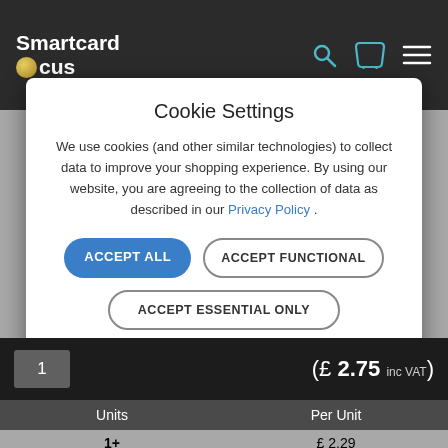[Figure (logo): Smartcard Focus logo with coin icon, white text on dark background]
Cookie Settings
We use cookies (and other similar technologies) to collect data to improve your shopping experience. By using our website, you are agreeing to the collection of data as described in our Privacy Policy .
ACCEPT ALL
ACCEPT FUNCTIONAL
ACCEPT ESSENTIAL ONLY
You can also update preferences for individual cookies: detailed cookie settings.
| Units | Per Unit |
| --- | --- |
| 1+ | £ 2.29 |
| 10+ | £ 2.15 |